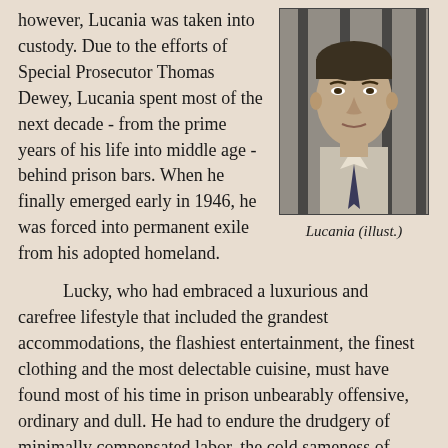however, Lucania was taken into custody. Due to the efforts of Special Prosecutor Thomas Dewey, Lucania spent most of the next decade - from the prime years of his life into middle age - behind prison bars. When he finally emerged early in 1946, he was forced into permanent exile from his adopted homeland.
[Figure (photo): Black and white photograph of Lucania (Lucky Luciano) shown behind prison bars, a mug-shot style portrait.]
Lucania (illust.)
Lucky, who had embraced a luxurious and carefree lifestyle that included the grandest accommodations, the flashiest entertainment, the finest clothing and the most delectable cuisine, must have found most of his time in prison unbearably offensive, ordinary and dull. He had to endure the drudgery of minimally compensated labor, the cold sameness of institutional surroundings and routines, the unpleasantness of prison garb, the suffocatingly close contact with society's dregs and the daily disappointment of barely edible